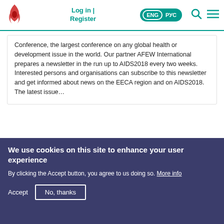Log in | Register  ENG РУС
Conference, the largest conference on any global health or development issue in the world. Our partner AFEW International prepares a newsletter in the run up to AIDS2018 every two weeks. Interested persons and organisations can subscribe to this newsletter and get informed about news on the EECA region and on AIDS2018. The latest issue…
[Figure (photo): Partial view of a person's head with light brown hair against a grey background]
We use cookies on this site to enhance your user experience
By clicking the Accept button, you agree to us doing so. More info
Accept  No, thanks